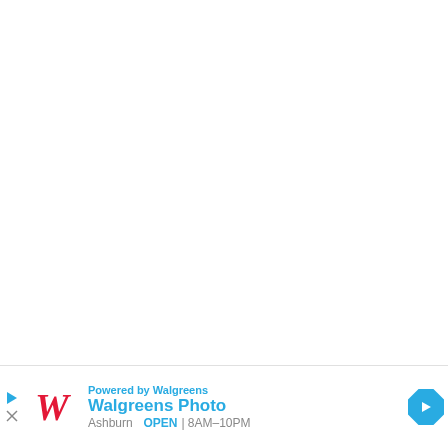[Figure (screenshot): Mostly white/blank area representing a webpage screenshot with content scrolled out of view]
Powered by Walgreens
Walgreens Photo
Ashburn  OPEN  8AM–10PM